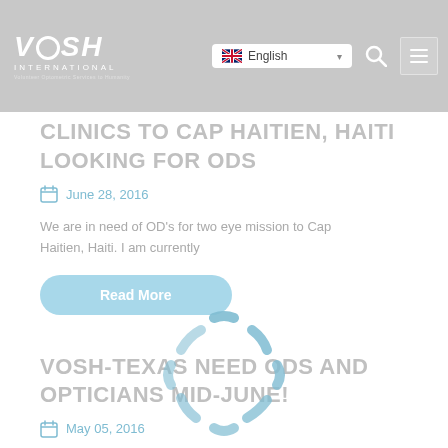VOSH INTERNATIONAL | English
CLINICS TO CAP HAITIEN, HAITI LOOKING FOR ODS
June 28, 2016
We are in need of OD's for two eye mission to Cap Haitien, Haiti. I am currently
Read More
VOSH-TEXAS NEED ODS AND OPTICIANS MID-JUNE!
May 05, 2016